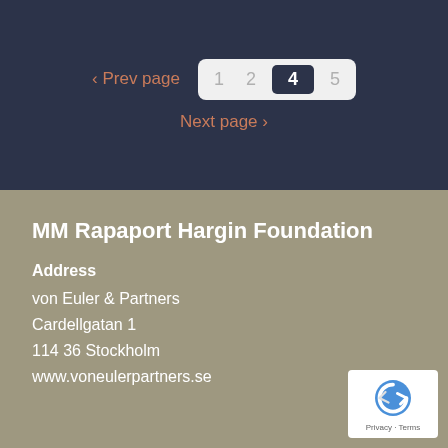< Prev page   1  2  4  5   Next page >
MM Rapaport Hargin Foundation
Address
von Euler & Partners
Cardellgatan 1
114 36 Stockholm
www.voneulerpartners.se